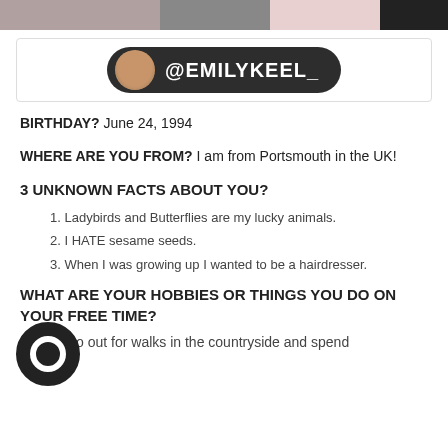[Figure (photo): Top strip of photos partially visible at top of page]
[Figure (infographic): Dark pill-shaped banner with circular avatar photo and @EMILYKEEL_ handle text in white on dark background]
BIRTHDAY? June 24, 1994
WHERE ARE YOU FROM? I am from Portsmouth in the UK!
3 UNKNOWN FACTS ABOUT YOU?
1. Ladybirds and Butterflies are my lucky animals.
2. I HATE sesame seeds.
3. When I was growing up I wanted to be a hairdresser.
WHAT ARE YOUR HOBBIES OR THINGS YOU DO ON YOUR FREE TIME?
I like to go out for walks in the countryside and spend